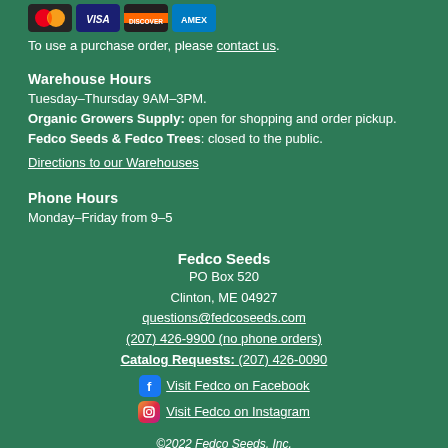[Figure (illustration): Payment card icons: Mastercard, Visa, Discover, American Express]
To use a purchase order, please contact us.
Warehouse Hours
Tuesday–Thursday 9AM–3PM.
Organic Growers Supply: open for shopping and order pickup.
Fedco Seeds & Fedco Trees: closed to the public.
Directions to our Warehouses
Phone Hours
Monday–Friday from 9–5
Fedco Seeds
PO Box 520
Clinton, ME 04927
questions@fedcoseeds.com
(207) 426-9900 (no phone orders)
Catalog Requests: (207) 426-0090
Visit Fedco on Facebook
Visit Fedco on Instagram
©2022 Fedco Seeds, Inc.